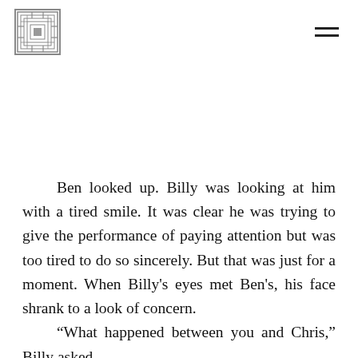[Logo icon] [Hamburger menu]
Ben looked up. Billy was looking at him with a tired smile. It was clear he was trying to give the performance of paying attention but was too tired to do so sincerely. But that was just for a moment. When Billy's eyes met Ben's, his face shrank to a look of concern.
	“What happened between you and Chris,” Billy asked.